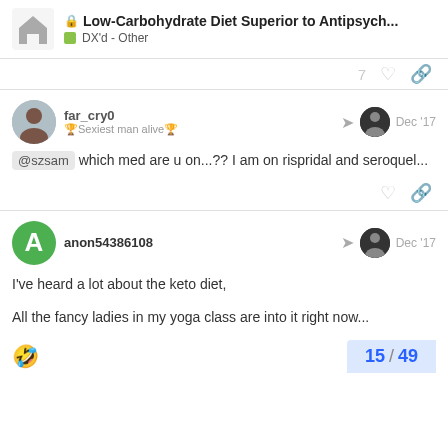Low-Carbohydrate Diet Superior to Antipsych... | DX'd - Other
7
far_cry0
🏆Sexiest man alive🏆
Dec '17
@szsam which med are u on...?? I am on rispridal and seroquel...
anon54386108
Dec '17
I've heard a lot about the keto diet,
All the fancy ladies in my yoga class are into it right now...
15 / 49